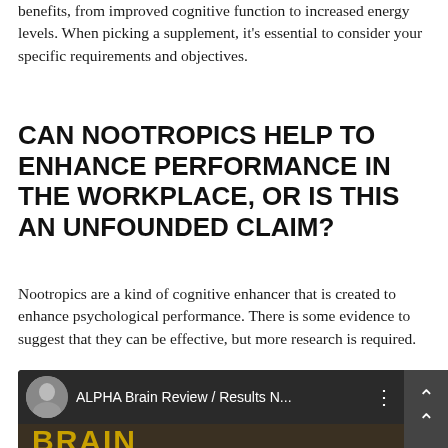benefits, from improved cognitive function to increased energy levels. When picking a supplement, it's essential to consider your specific requirements and objectives.
CAN NOOTROPICS HELP TO ENHANCE PERFORMANCE IN THE WORKPLACE, OR IS THIS AN UNFOUNDED CLAIM?
Nootropics are a kind of cognitive enhancer that is created to enhance psychological performance. There is some evidence to suggest that they can be effective, but more research is required.
[Figure (screenshot): YouTube video thumbnail showing 'ALPHA Brain Review / Results N...' with a circular avatar of a person, three-dot menu, and a thumbnail showing the word BRAIN in gold letters on dark background]